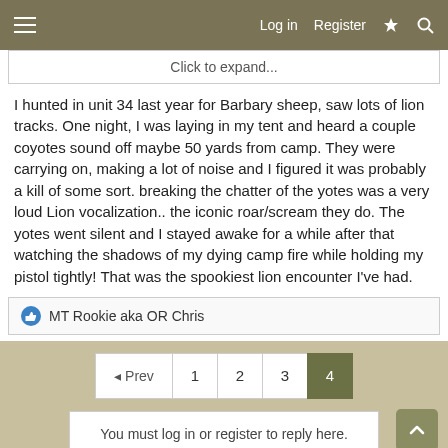Log in  Register
Click to expand...
I hunted in unit 34 last year for Barbary sheep, saw lots of lion tracks. One night, I was laying in my tent and heard a couple coyotes sound off maybe 50 yards from camp. They were carrying on, making a lot of noise and I figured it was probably a kill of some sort. breaking the chatter of the yotes was a very loud Lion vocalization.. the iconic roar/scream they do. The yotes went silent and I stayed awake for a while after that watching the shadows of my dying camp fire while holding my pistol tightly! That was the spookiest lion encounter I've had.
MT Rookie aka OR Chris
◄ Prev  1  2  3  4
You must log in or register to reply here.
Similar threads